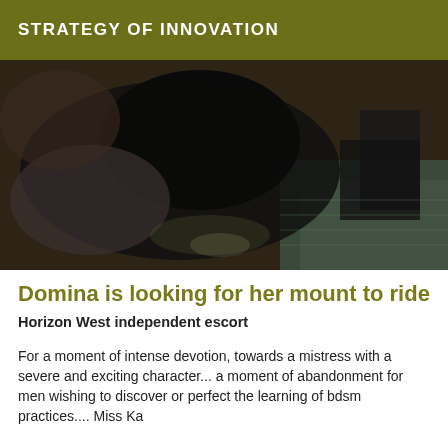STRATEGY OF INNOVATION
[Figure (photo): Dark photograph showing a person from above, with dark braided/curled hair, wearing dark clothing, on a patterned floor.]
Domina is looking for her mount to ride
Horizon West independent escort
For a moment of intense devotion, towards a mistress with a severe and exciting character... a moment of abandonment for men wishing to discover or perfect the learning of bdsm practices.... Miss Ka